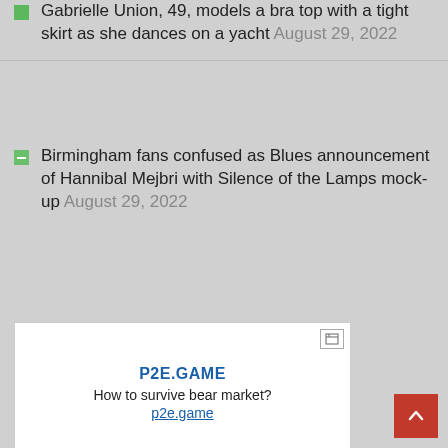Gabrielle Union, 49, models a bra top with a tight skirt as she dances on a yacht August 29, 2022
Birmingham fans confused as Blues announcement of Hannibal Mejbri with Silence of the Lamps mock-up August 29, 2022
[Figure (infographic): Advertisement box for P2E.GAME with text 'How to survive bear market?' and link 'p2e.game']